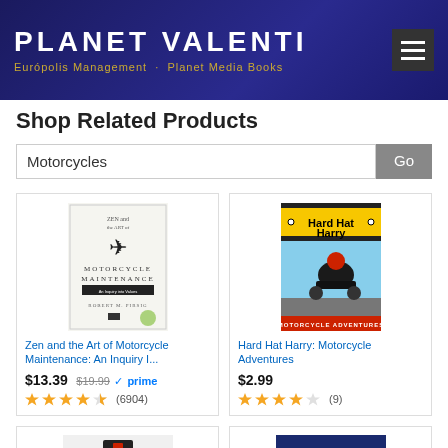PLANET VALENTI
Európolis Management · Planet Media Books
Shop Related Products
Motorcycles [search box] Go
[Figure (photo): Book cover: Zen and the Art of Motorcycle Maintenance]
Zen and the Art of Motorcycle Maintenance: An Inquiry I...
$13.39  $19.99  ✓prime
★★★★½ (6904)
[Figure (photo): Book cover: Hard Hat Harry: Motorcycle Adventures]
Hard Hat Harry: Motorcycle Adventures
$2.99
★★★★ (9)
[Figure (photo): Motorcycle phone mount product image]
[Figure (photo): Book cover: partially visible, appears to be a fashion/lifestyle book]